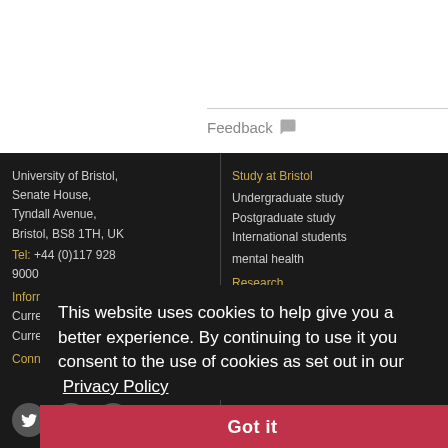Feedback
University of Bristol, Senate House, Tyndall Avenue, Bristol, BS8 1TH, UK
Tel: +44 (0)117 928 9000
Information for
Current students
Current staff
Connect with us
Study at Bristol
Undergraduate study
Postgraduate study
International students
mental health
Research
Find a researcher
Impact of our research
Research quality and
This website uses cookies to help give you a better experience. By continuing to use it you consent to the use of cookies as set out in our  Privacy Policy
Got it